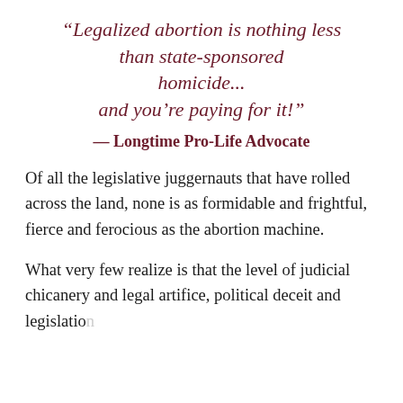“Legalized abortion is nothing less than state-sponsored homicide... and you’re paying for it!”
— Longtime Pro-Life Advocate
Of all the legislative juggernauts that have rolled across the land, none is as formidable and frightful, fierce and ferocious as the abortion machine.
What very few realize is that the level of judicial chicanery and legal artifice, political deceit and legislation...